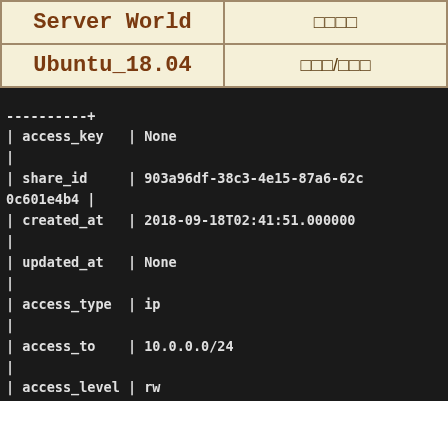| Server World | □□□□ |
| --- | --- |
| Ubuntu_18.04 | □□□/□□□ |
----------+
| access_key   | None
|
| share_id     | 903a96df-38c3-4e15-87a6-62c0c601e4b4 |
| created_at   | 2018-09-18T02:41:51.000000
|
| updated_at   | None
|
| access_type  | ip
|
| access_to    | 10.0.0.0/24
|
| access_level | rw
|
| state        | queued_to_apply
|
| id           | 3904854a-2bac-43ff-b807-232749b24c2f |
|